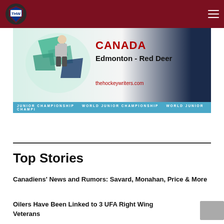THW - The Hockey Writers
[Figure (illustration): World Junior Championship banner featuring Canada, Edmonton - Red Deer, hockey player graphic, thehockeywriters.com, teal bottom bar with 'WORLD JUNIOR CHAMPIONSHIP' ticker text]
Top Stories
Canadiens' News and Rumors: Savard, Monahan, Price & More
Oilers Have Been Linked to 3 UFA Right Wing Veterans